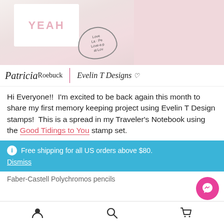[Figure (photo): Photo of Traveler's Notebook spread showing white and pink cards with 'YEAH' text and heart stamps with handwritten words like Love, Peace, Happy]
Patricia Roebuck   Evelin T Designs
Hi Everyone!!  I'm excited to be back again this month to share my first memory keeping project using Evelin T Design stamps!  This is a spread in my Traveler's Notebook using the Good Tidings to You stamp set.
Free shipping for all US orders above $80.
Dismiss
Faber-Castell Polychromos pencils